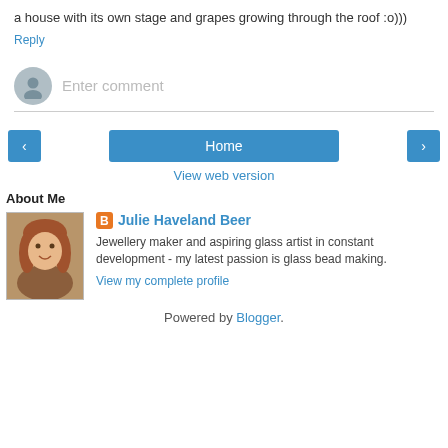a house with its own stage and grapes growing through the roof :o)))
Reply
[Figure (other): Comment input area with user avatar icon and placeholder text 'Enter comment']
[Figure (other): Navigation buttons: left arrow, Home, right arrow]
View web version
About Me
[Figure (photo): Profile photo of Julie Haveland Beer - woman with curly reddish-brown hair]
Julie Haveland Beer
Jewellery maker and aspiring glass artist in constant development - my latest passion is glass bead making.
View my complete profile
Powered by Blogger.